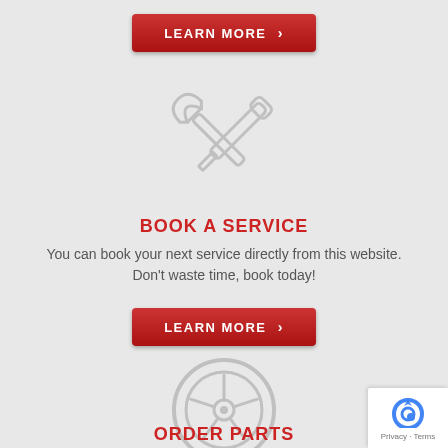[Figure (other): Red 'LEARN MORE >' button at top of page]
[Figure (illustration): Wrench and screwdriver crossed icon, outline style in light gray]
BOOK A SERVICE
You can book your next service directly from this website. Don't waste time, book today!
[Figure (other): Red 'LEARN MORE >' button]
[Figure (illustration): Wheel/tire icon, outline style in light gray]
ORDER PARTS
[Figure (other): reCAPTCHA badge in bottom right corner showing Privacy - Terms]